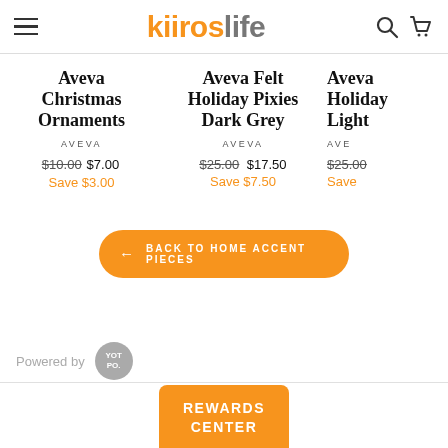kitroslife — navigation header with hamburger menu, logo, search and cart icons
Aveva Christmas Ornaments — AVEVA — $10.00 $7.00 Save $3.00
Aveva Felt Holiday Pixies Dark Grey — AVEVA — $25.00 $17.50 Save $7.50
Aveva Holiday Light — AVE — $25.00 Save
← BACK TO HOME ACCENT PIECES
Powered by YOT PO.
REWARDS CENTER